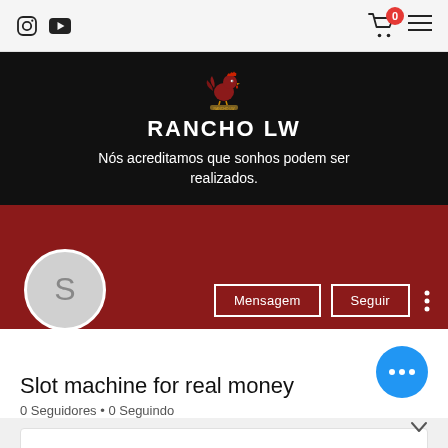[Figure (screenshot): Website top navigation bar with Instagram and YouTube icons on the left, shopping cart with badge showing 0 and hamburger menu on the right]
[Figure (logo): Rancho LW rooster logo on dark background]
RANCHO LW
Nós acreditamos que sonhos podem ser realizados.
[Figure (photo): User profile avatar circle with letter S, with Mensagem and Seguir buttons]
Slot machine for real money
0 Seguidores • 0 Seguindo